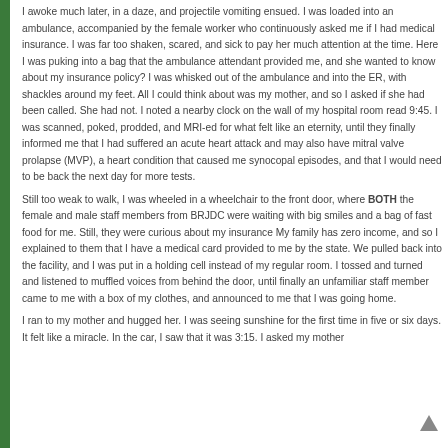I awoke much later, in a daze, and projectile vomiting ensued. I was loaded into an ambulance, accompanied by the female worker who continuously asked me if I had medical insurance. I was far too shaken, scared, and sick to pay her much attention at the time. Here I was puking into a bag that the ambulance attendant provided me, and she wanted to know about my insurance policy? I was whisked out of the ambulance and into the ER, with shackles around my feet. All I could think about was my mother, and so I asked if she had been called. She had not. I noted a nearby clock on the wall of my hospital room read 9:45. I was scanned, poked, prodded, and MRI-ed for what felt like an eternity, until they finally informed me that I had suffered an acute heart attack and may also have mitral valve prolapse (MVP), a heart condition that caused me synocopal episodes, and that I would need to be back the next day for more tests.
Still too weak to walk, I was wheeled in a wheelchair to the front door, where BOTH the female and male staff members from BRJDC were waiting with big smiles and a bag of fast food for me. Still, they were curious about my insurance My family has zero income, and so I explained to them that I have a medical card provided to me by the state. We pulled back into the facility, and I was put in a holding cell instead of my regular room. I tossed and turned and listened to muffled voices from behind the door, until finally an unfamiliar staff member came to me with a box of my clothes, and announced to me that I was going home.
I ran to my mother and hugged her. I was seeing sunshine for the first time in five or six days. It felt like a miracle. In the car, I saw that it was 3:15. I asked my mother